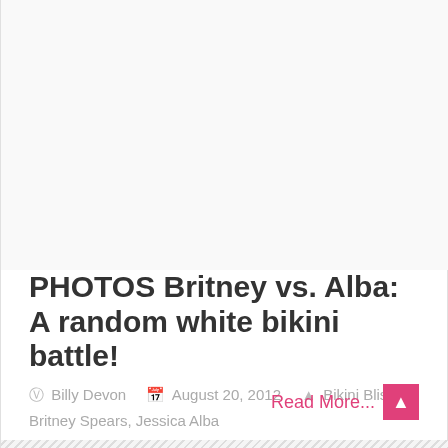[Figure (photo): Large image area, appears blank/white in this view]
PHOTOS Britney vs. Alba: A random white bikini battle!
Billy Devon  August 20, 2012  Bikini Bliss, Britney Spears, Jessica Alba
Read More...